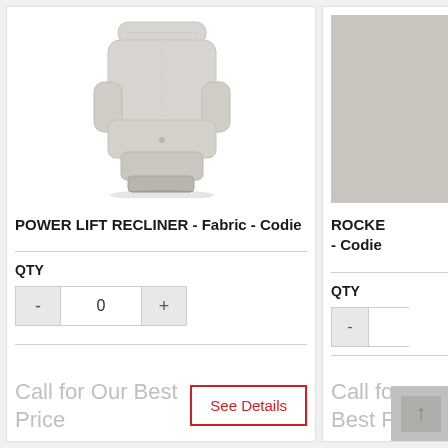[Figure (photo): A light gray fabric power lift recliner chair photographed on a white background]
POWER LIFT RECLINER - Fabric - Codie
QTY
- 0 +
Call for Our Best Price
See Details
ROCKE - Codie
QTY
-
Call for Best P